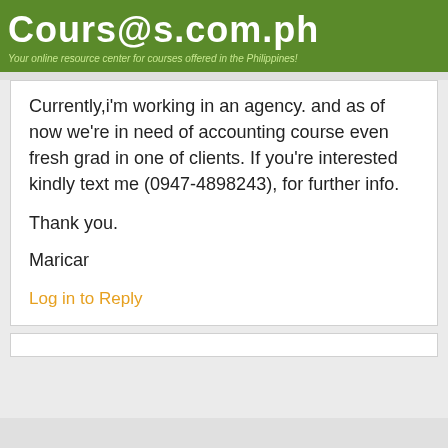Courses.com.ph — Your online resource center for courses offered in the Philippines!
Currently,i'm working in an agency. and as of now we're in need of accounting course even fresh grad in one of clients. If you're interested kindly text me (0947-4898243), for further info.

Thank you.

Maricar
Log in to Reply